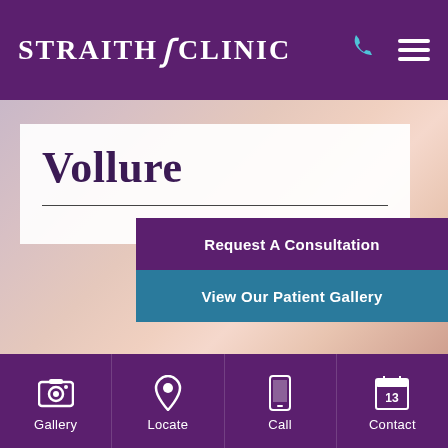Straith Clinic
Vollure
Request A Consultation
View Our Patient Gallery
Gallery | Locate | Call | Contact